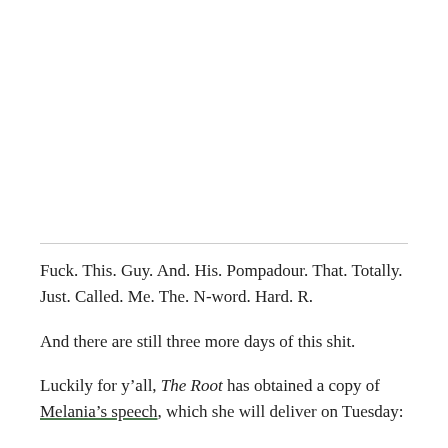Fuck. This. Guy. And. His. Pompadour. That. Totally. Just. Called. Me. The. N-word. Hard. R.
And there are still three more days of this shit.
Luckily for y’all, The Root has obtained a copy of Melania’s speech, which she will deliver on Tuesday: